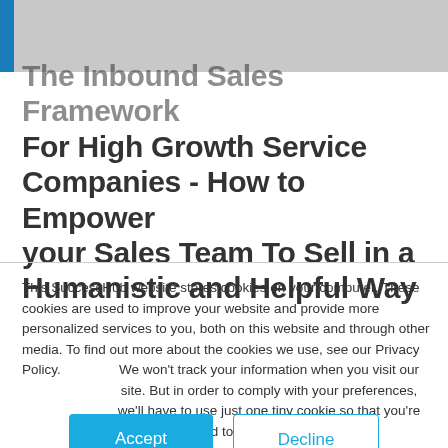[Figure (photo): Gray header image area with a blue vertical bar on the left side]
The Inbound Sales Framework For High Growth Service Companies - How to Empower your Sales Team To Sell in a Humanistic and Helpful Way
This SuccessHub website stores cookies on your computer. These cookies are used to improve your website and provide more personalized services to you, both on this website and through other media. To find out more about the cookies we use, see our Privacy Policy.
We won't track your information when you visit our site. But in order to comply with your preferences, we'll have to use just one tiny cookie so that you're not asked to make this choice again.
Accept   Decline